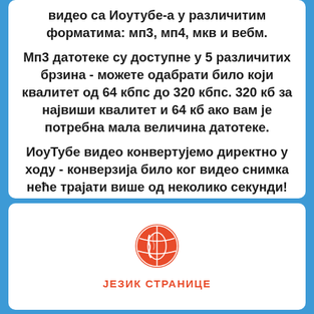видео са Иоутубе-а у различитим форматима: мп3, мп4, мкв и вебм.
Мп3 датотеке су доступне у 5 различитих брзина - можете одабрати било који квалитет од 64 кбпс до 320 кбпс. 320 кб за највиши квалитет и 64 кб ако вам је потребна мала величина датотеке.
ИоуТубе видео конвертујемо директно у ходу - конверзија било ког видео снимка неће трајати више од неколико секунди!
[Figure (illustration): Red circle globe/earth icon]
ЈЕЗИК СТРАНИЦЕ